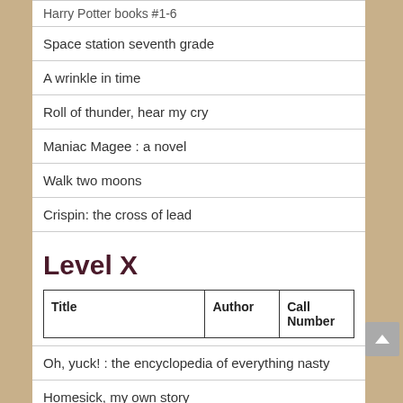Harry Potter books #1-6
Space station seventh grade
A wrinkle in time
Roll of thunder, hear my cry
Maniac Magee : a novel
Walk two moons
Crispin: the cross of lead
Level X
| Title | Author | Call Number |
| --- | --- | --- |
Oh, yuck! : the encyclopedia of everything nasty
Homesick, my own story